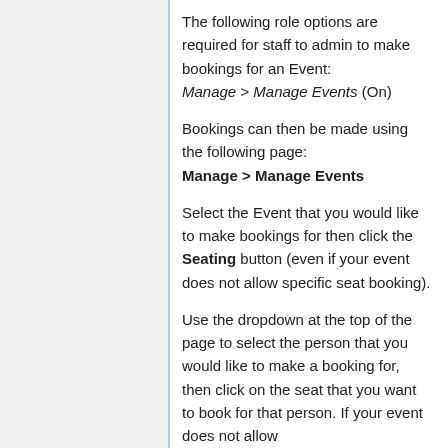The following role options are required for staff to admin to make bookings for an Event:
Manage > Manage Events (On)
Bookings can then be made using the following page:
Manage > Manage Events
Select the Event that you would like to make bookings for then click the Seating button (even if your event does not allow specific seat booking).
Use the dropdown at the top of the page to select the person that you would like to make a booking for, then click on the seat that you want to book for that person. If your event does not allow